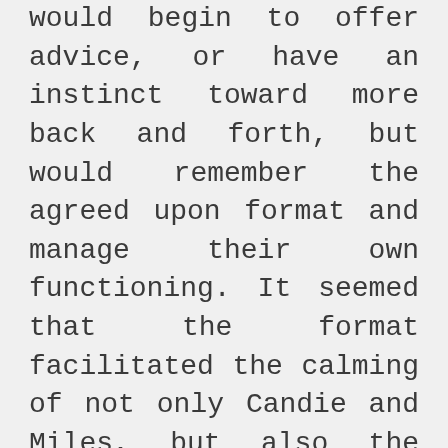would begin to offer advice, or have an instinct toward more back and forth, but would remember the agreed upon format and manage their own functioning. It seemed that the format facilitated the calming of not only Candie and Miles, but also the rest of the group, to where people, none of whom have studied Bowen Theory, became more self-aware of their own instincts and ultimately exercised